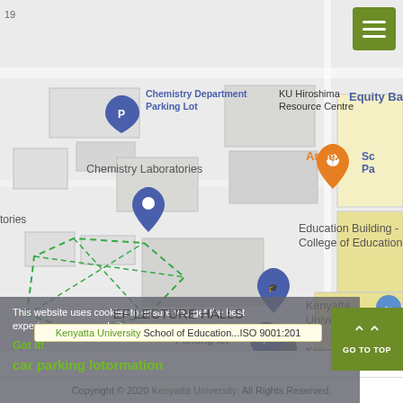[Figure (map): Google Maps screenshot showing Kenyatta University campus map with labeled buildings: Chemistry Department Parking Lot, Chemistry Laboratories, KU Hiroshima Resource Centre, Equity Bank, Annex, Education Building - College of Education, Computer center Parking lot, Kenyatta University-Kiswahili..., Kenyatta University Bookshop Parking Lot, Kenyatta University Bookshop (Book store). Green dashed polygon area visible on left side of map.]
This website uses cookies to ensure you get the best experience on our website.
Got it!
car parking lot
ormation
EF LECTURE HALLS
Kenyatta University School of Education...ISO 9001:201
Copyright © 2020 Kenyatta University. All Rights Reserved.